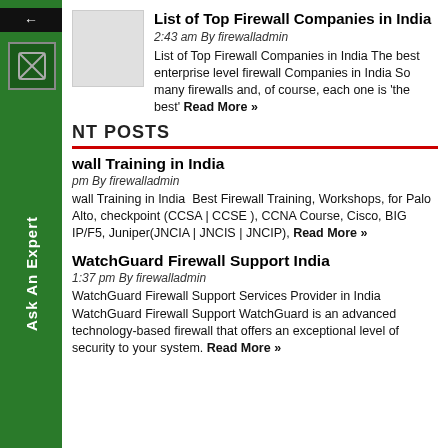List of Top Firewall Companies in India
2:43 am By firewalladmin
List of Top Firewall Companies in India The best enterprise level firewall Companies in India So many firewalls and, of course, each one is 'the best' Read More »
NT POSTS
wall Training in India
pm By firewalladmin
wall Training in India  Best Firewall Training, Workshops, for Palo Alto, checkpoint (CCSA | CCSE ), CCNA Course, Cisco, BIG IP/F5, Juniper(JNCIA | JNCIS | JNCIP), Read More »
WatchGuard Firewall Support India
1:37 pm By firewalladmin
WatchGuard Firewall Support Services Provider in India WatchGuard Firewall Support WatchGuard is an advanced technology-based firewall that offers an exceptional level of security to your system. Read More »